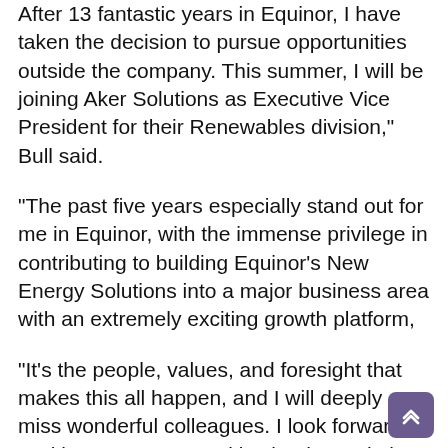After 13 fantastic years in Equinor, I have taken the decision to pursue opportunities outside the company. This summer, I will be joining Aker Solutions as Executive Vice President for their Renewables division," Bull said.
"The past five years especially stand out for me in Equinor, with the immense privilege in contributing to building Equinor's New Energy Solutions into a major business area with an extremely exciting growth platform,
"It's the people, values, and foresight that makes this all happen, and I will deeply miss wonderful colleagues. I look forward to exciting, new opportunities in Aker Solutions and continue to drive the energy transition."
Bull has held senior leadership positions in the energy industry for over 20 years covering offshore wind, floating offshore wind technologies, carbon capture & storage, energy storage, and international oil and gas operations.
Equinor's offshore wind operations in the North Sea include